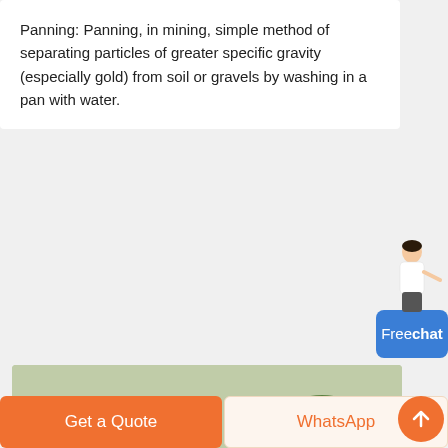Panning: Panning, in mining, simple method of separating particles of greater specific gravity (especially gold) from soil or gravels by washing in a pan with water.
[Figure (photo): Orange industrial flotation/panning mining machine with multiple funnel-shaped impellers on top and rectangular compartments, viewed from the side outdoors.]
Get a Quote
WhatsApp